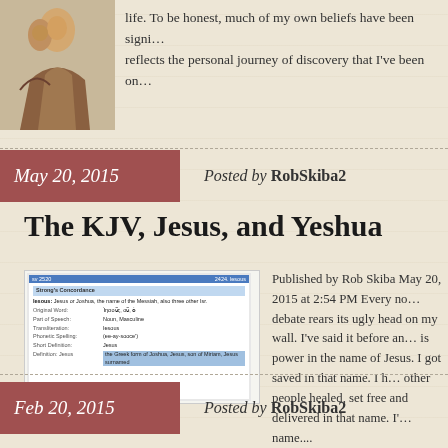[Figure (photo): Painting of a biblical scene, figures in robes]
life. To be honest, much of my own beliefs have been signi... reflects the personal journey of discovery that I've been on...
May 20, 2015    Posted by RobSkiba2
The KJV, Jesus, and Yeshua
[Figure (screenshot): Screenshot of Strong's Concordance entry for Jesus/Yeshua]
Published by Rob Skiba May 20, 2015 at 2:54 PM Every no... debate rears its ugly head on my wall. I've said it before an... is power in the name of Jesus. I got saved in that name. I h... other people healed, set free and delivered in that name. I'... name....
Feb 20, 2015    Posted by RobSkiba2